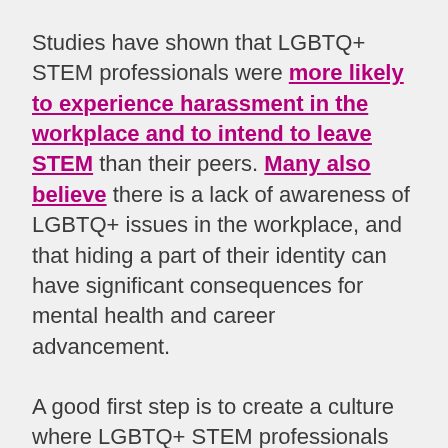Studies have shown that LGBTQ+ STEM professionals were more likely to experience harassment in the workplace and to intend to leave STEM than their peers. Many also believe there is a lack of awareness of LGBTQ+ issues in the workplace, and that hiding a part of their identity can have significant consequences for mental health and career advancement.
A good first step is to create a culture where LGBTQ+ STEM professionals feel supported and comfortable to come out to their colleagues and present their whole selves at work.
On National Coming Out Day, five Gladstonians